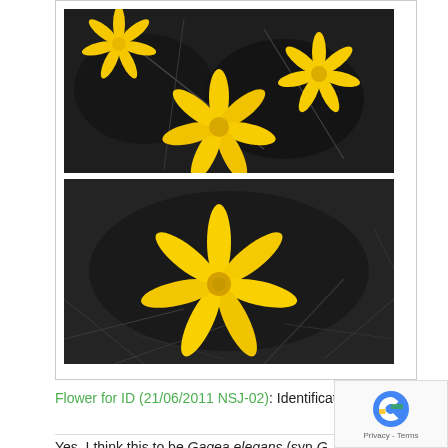[Figure (photo): Two photographs of yellow star-shaped flowers. Top photo shows multiple yellow star-shaped flowers (Gagea elegans) on a dark background. Bottom photo is a close-up of a single yellow star-shaped flower on a dark grey/black background.]
Flower for ID (21/06/2011 NSJ-02): Identification of this flower is requested. Photo taken at Pahalgam hills, Kashmir. Leaves not visible.
Yes, I think this to be Gagea elegans (syn G. lutea).